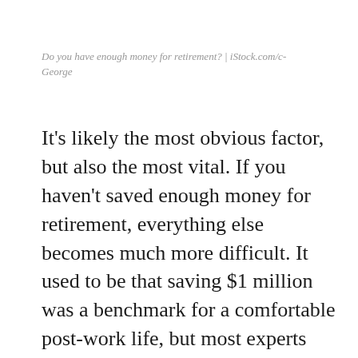Do you have enough money for retirement? | iStock.com/c-George
It's likely the most obvious factor, but also the most vital. If you haven't saved enough money for retirement, everything else becomes much more difficult. It used to be that saving $1 million was a benchmark for a comfortable post-work life, but most experts will say that might not be enough anymore. However, it's also true that many people enjoy their lives while saving less than that figure. The truth is, only you can determine how much you'll need to save for your own retirement.